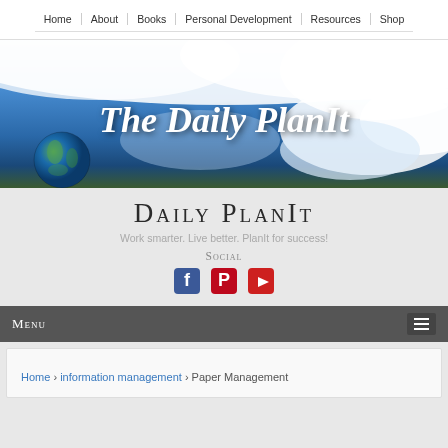Home | About | Books | Personal Development | Resources | Shop
[Figure (illustration): The Daily PlanIt website banner with sky, clouds, and earth globe image with italic white script text 'The Daily PlanIt']
Daily PlanIt
Work smarter. Live better. PlanIt for success!
Social
[Figure (infographic): Social media icons: Facebook, Pinterest, YouTube]
Menu
Home › information management › Paper Management